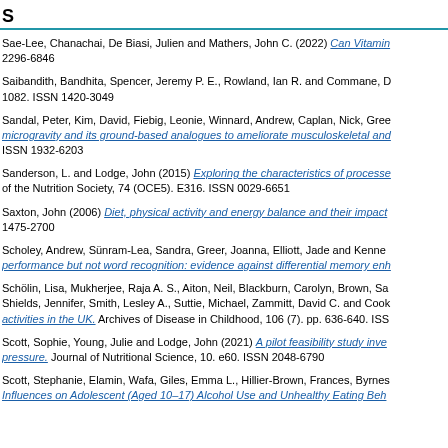S
Sae-Lee, Chanachai, De Biasi, Julien and Mathers, John C. (2022) Can Vitamin... 2296-6846
Saibandith, Bandhita, Spencer, Jeremy P. E., Rowland, Ian R. and Commane, D... 1082. ISSN 1420-3049
Sandal, Peter, Kim, David, Fiebig, Leonie, Winnard, Andrew, Caplan, Nick, Gree... microgravity and its ground-based analogues to ameliorate musculoskeletal and... ISSN 1932-6203
Sanderson, L. and Lodge, John (2015) Exploring the characteristics of processe... of the Nutrition Society, 74 (OCE5). E316. ISSN 0029-6651
Saxton, John (2006) Diet, physical activity and energy balance and their impact... 1475-2700
Scholey, Andrew, Sünram-Lea, Sandra, Greer, Joanna, Elliott, Jade and Kenne... performance but not word recognition: evidence against differential memory enh...
Schölin, Lisa, Mukherjee, Raja A. S., Aiton, Neil, Blackburn, Carolyn, Brown, Sa... Shields, Jennifer, Smith, Lesley A., Suttie, Michael, Zammitt, David C. and Cook... activities in the UK. Archives of Disease in Childhood, 106 (7). pp. 636-640. ISS...
Scott, Sophie, Young, Julie and Lodge, John (2021) A pilot feasibility study inve... pressure. Journal of Nutritional Science, 10. e60. ISSN 2048-6790
Scott, Stephanie, Elamin, Wafa, Giles, Emma L., Hillier-Brown, Frances, Byrnes... Influences on Adolescent (Aged 10–17) Alcohol Use and Unhealthy Eating Beh...